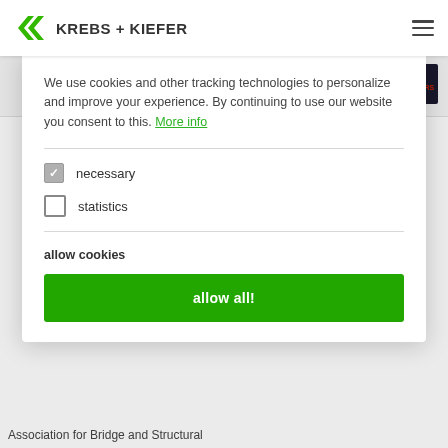[Figure (logo): Krebs+Kiefer logo with green chevrons and company name]
[Figure (logo): 90 Years anniversary badge in red/dark]
We use cookies and other tracking technologies to personalize and improve your experience. By continuing to use our website you consent to this. More info
necessary (checked checkbox)
statistics (unchecked checkbox)
allow cookies
allow all!
Association for Bridge and Structural